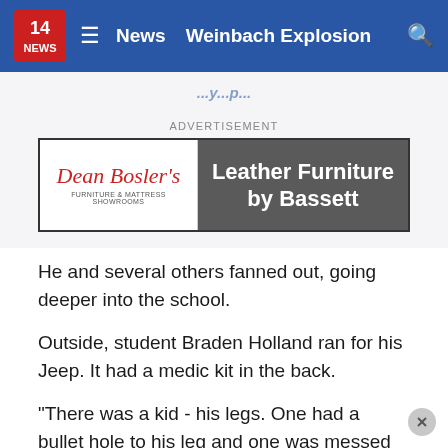14 NEWS  ≡  News  Weinbach Explosion  🔍
[Figure (screenshot): Dean Bosler's Furniture & Mattress Showrooms advertisement banner with 'Leather Furniture by Bassett' text on dark grey background]
ADVERTISEMENT
He and several others fanned out, going deeper into the school.
Outside, student Braden Holland ran for his Jeep. It had a medic kit in the back.
"There was a kid - his legs. One had a bullet hole to his leg and one was messed up in the arm. I ran over there," said Holland.
He didn't get the chance to use that medic kit. A teacher